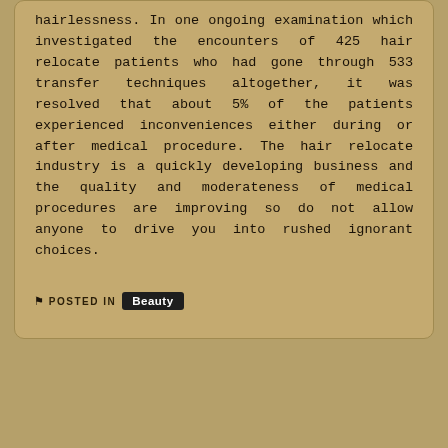hairlessness. In one ongoing examination which investigated the encounters of 425 hair relocate patients who had gone through 533 transfer techniques altogether, it was resolved that about 5% of the patients experienced inconveniences either during or after medical procedure. The hair relocate industry is a quickly developing business and the quality and moderateness of medical procedures are improving so do not allow anyone to drive you into rushed ignorant choices.
POSTED IN Beauty